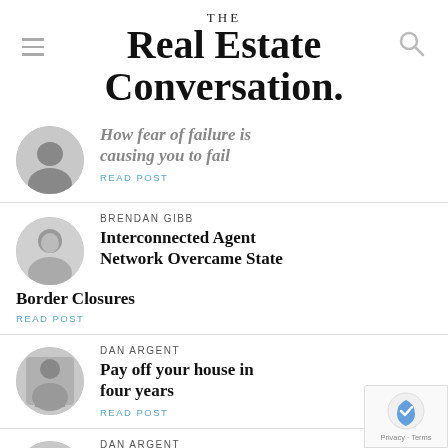THE Real Estate Conversation.
How fear of failure is causing you to fail
READ POST
BRENDAN GIBB
Interconnected Agent Network Overcame State Border Closures
READ POST
DAN ARGENT
Pay off your house in four years
READ POST
DAN ARGENT
How I made $850,000 before getting out of bed,